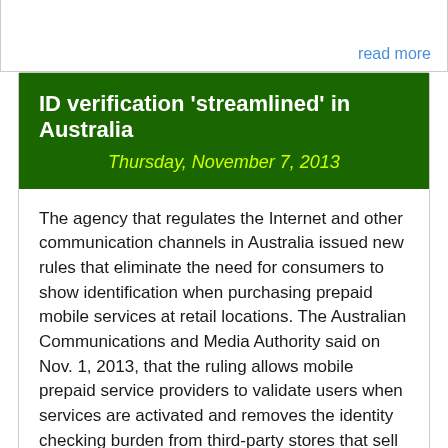read more
ID verification 'streamlined' in Australia
Thursday, November 7, 2013
The agency that regulates the Internet and other communication channels in Australia issued new rules that eliminate the need for consumers to show identification when purchasing prepaid mobile services at retail locations. The Australian Communications and Media Authority said on Nov. 1, 2013, that the ruling allows mobile prepaid service providers to validate users when services are activated and removes the identity checking burden from third-party stores that sell mobile prepaid services.
read more